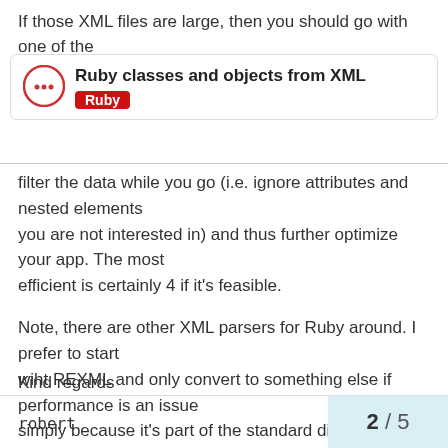If those XML files are large, then you should go with one of the
[Figure (other): Forum post card showing title 'Ruby classes and objects from XML' with a Ruby tag label and a chat icon logo]
filter the data while you go (i.e. ignore attributes and nested elements
you are not interested in) and thus further optimize your app. The most
efficient is certainly 4 if it's feasible.

Note, there are other XML parsers for Ruby around. I prefer to start
wiht REXML and only convert to something else if performance is an issue
simply because it's part of the standard distribution and has a nice
interface.
Kind regards
robert
2 / 5